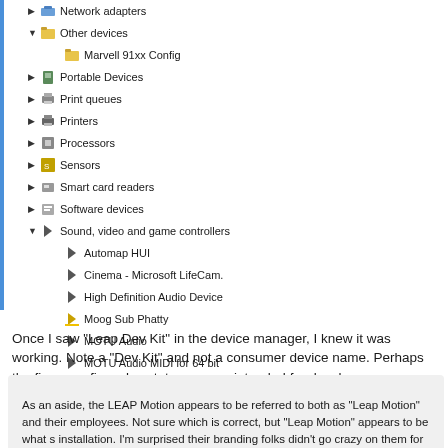[Figure (screenshot): Windows Device Manager tree showing hardware categories including Network adapters, Other devices (Marvell 91xx Config), Portable Devices, Print queues, Printers, Processors, Sensors, Smart card readers, Software devices, and expanded Sound video and game controllers (Automap HUI, Cinema - Microsoft LifeCam, High Definition Audio Device, Moog Sub Phatty, MOTU Audio, MOTU Audio MIDI for 64 bit, MOTU Audio Wave for 64 bit)]
Once I saw "Leap Dev Kit" in the device manager, I knew it was working. Note a "Dev Kit" and not a consumer device name. Perhaps the firmware fixes dev status, or was intended for developers.
As an aside, the LEAP Motion appears to be referred to both as "Leap Motion" and their employees. Not sure which is correct, but "Leap Motion" appears to be what s installation. I'm surprised their branding folks didn't go crazy on them for mixing the